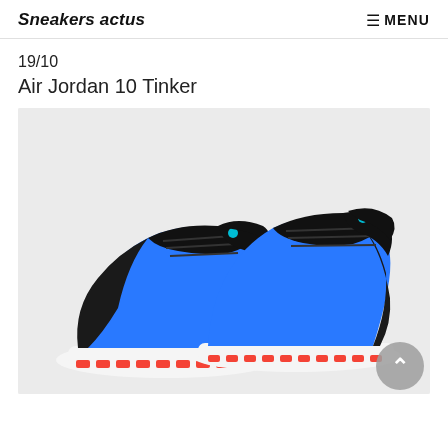Sneakers actus   ☰ MENU
19/10
Air Jordan 10 Tinker
[Figure (photo): Air Jordan 10 Tinker sneakers in blue colorway with black laces and accents, white midsole, and orange outsole details. Two shoes shown side by side on a light grey background.]